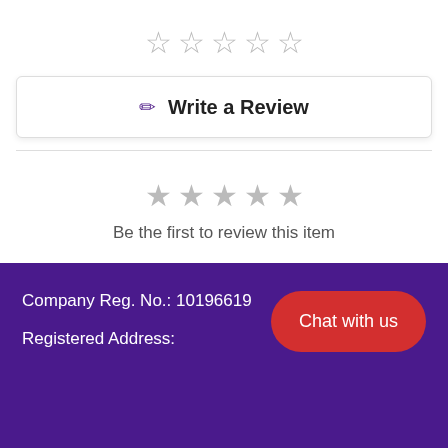[Figure (other): Five empty star rating icons in a row]
✏ Write a Review
[Figure (other): Five filled gray star rating icons in a row]
Be the first to review this item
Company Reg. No.: 10196619
Registered Address:
Chat with us